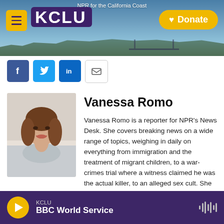NPR for the California Coast — KCLU — Donate
[Figure (screenshot): KCLU website header with logo, menu button, and Donate button over coastal photo background]
[Figure (infographic): Social sharing icons: Facebook, Twitter, LinkedIn, Email]
[Figure (photo): Headshot photo of Vanessa Romo, a woman with long brown hair, smiling]
Vanessa Romo
Vanessa Romo is a reporter for NPR's News Desk. She covers breaking news on a wide range of topics, weighing in daily on everything from immigration and the treatment of migrant children, to a war-crimes trial where a witness claimed he was the actual killer, to an alleged sex cult. She has also covered the occasional cat-clinging-to-the-hood-of-a-car story.
KCLU — BBC World Service (audio player)